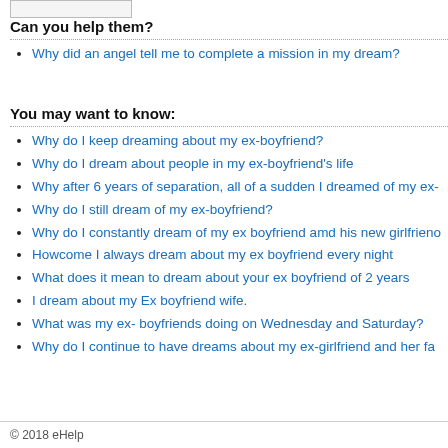[Figure (other): Input/search box at top of page]
Can you help them?
Why did an angel tell me to complete a mission in my dream?
You may want to know:
Why do I keep dreaming about my ex-boyfriend?
Why do I dream about people in my ex-boyfriend's life
Why after 6 years of separation, all of a sudden I dreamed of my ex-
Why do I still dream of my ex-boyfriend?
Why do I constantly dream of my ex boyfriend amd his new girlfrieno
Howcome I always dream about my ex boyfriend every night
What does it mean to dream about your ex boyfriend of 2 years
I dream about my Ex boyfriend wife.
What was my ex- boyfriends doing on Wednesday and Saturday?
Why do I continue to have dreams about my ex-girlfriend and her fa
© 2018 eHelp